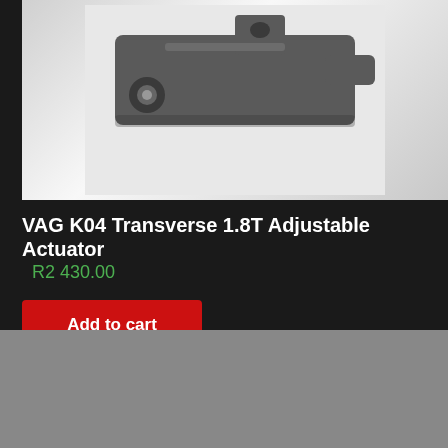[Figure (photo): Close-up photo of a metal VAG K04 Transverse 1.8T Adjustable Actuator bracket/component, dark grey metallic finish on white background]
VAG K04 Transverse 1.8T Adjustable Actuator
R2 430.00
Add to cart
COME TO THE DARK SIDE
Unit 5  Yoshen Maistry
The Factories  079 023 0345
3 Jansen Road  yosh@darkartz.co.za
Jet Park
[Figure (logo): Facebook logo icon, white f on blue background]
[Figure (logo): CST Tuning logo, black text on white background]
[Figure (logo): Twitter bird logo icon, white bird on blue background]
[Figure (logo): Integrated Engineering logo, red and dark]